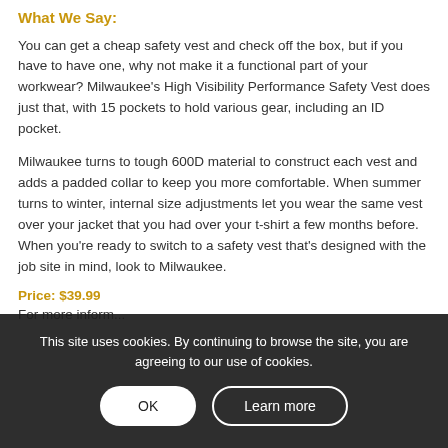What We Say:
You can get a cheap safety vest and check off the box, but if you have to have one, why not make it a functional part of your workwear? Milwaukee's High Visibility Performance Safety Vest does just that, with 15 pockets to hold various gear, including an ID pocket.
Milwaukee turns to tough 600D material to construct each vest and adds a padded collar to keep you more comfortable. When summer turns to winter, internal size adjustments let you wear the same vest over your jacket that you had over your t-shirt a few months before. When you're ready to switch to a safety vest that's designed with the job site in mind, look to Milwaukee.
Price: $39.99
For more information...
This site uses cookies. By continuing to browse the site, you are agreeing to our use of cookies.